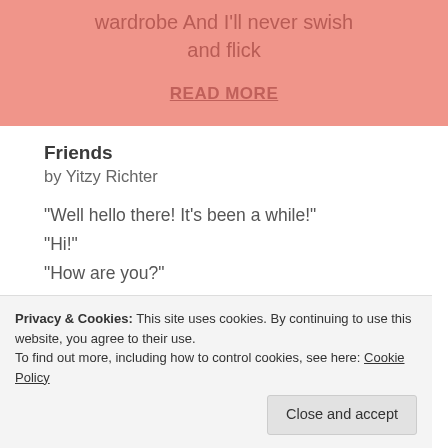wardrobe And I'll never swish and flick
READ MORE
Friends
by Yitzy Richter
“Well hello there! It’s been a while!”
“Hi!”
“How are you?”
Privacy & Cookies: This site uses cookies. By continuing to use this website, you agree to their use. To find out more, including how to control cookies, see here: Cookie Policy